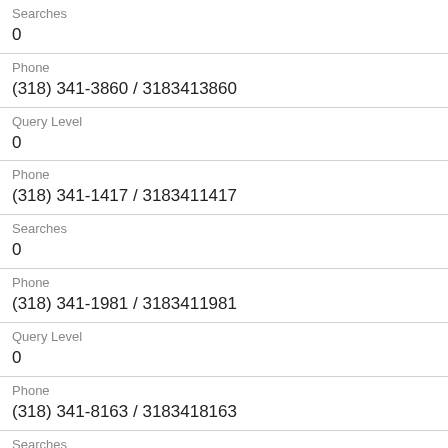Searches
0
Phone
(318) 341-3860 / 3183413860
Query Level
0
Phone
(318) 341-1417 / 3183411417
Searches
0
Phone
(318) 341-1981 / 3183411981
Query Level
0
Phone
(318) 341-8163 / 3183418163
Searches
0
Phone